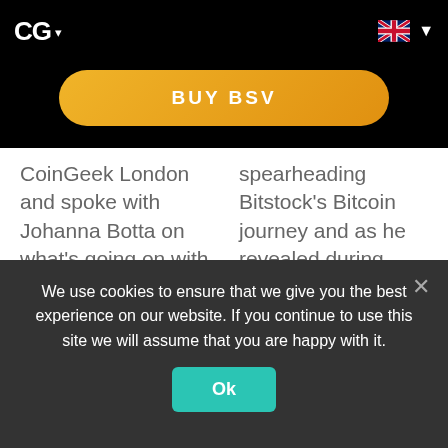CG ▾
[Figure (screenshot): BUY BSV button - yellow/orange pill-shaped button]
CoinGeek London and spoke with Johanna Botta on what's going on with BSV in the global community.
spearheading Bitstock's Bitcoin journey and as he revealed during CoinGeek London, his mission is to educate, empower and help evolve.
1  2  3  ...  16  »
We use cookies to ensure that we give you the best experience on our website. If you continue to use this site we will assume that you are happy with it.
[Figure (screenshot): Ok button - teal/green rounded rectangle button]